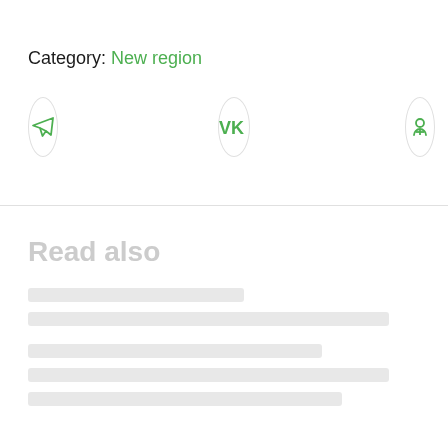Category: New region
[Figure (infographic): Three circular social media icon buttons: Telegram (paper plane icon), VK (VK logo), and Odnoklassniki (OK logo), all in green on white circular bordered backgrounds.]
Read also
[blurred/faded article preview content]